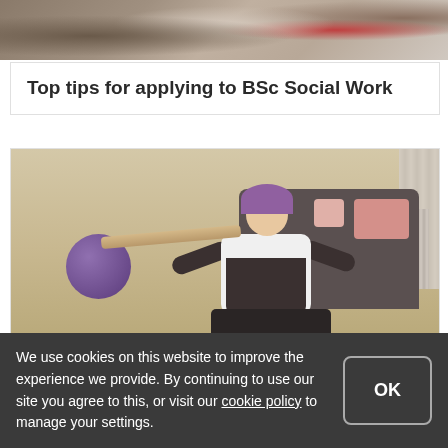[Figure (photo): Partial view of people, cropped at top of page]
Top tips for applying to BSc Social Work
[Figure (photo): A woman with purple hair sitting on the floor in a living room, smiling and holding a wooden rod with a child during what appears to be a conductive education session. A purple exercise ball is visible on the left, and a dark sofa with pink cushions is in the background.]
The first Master of Conductive Education
We use cookies on this website to improve the experience we provide. By continuing to use our site you agree to this, or visit our cookie policy to manage your settings.